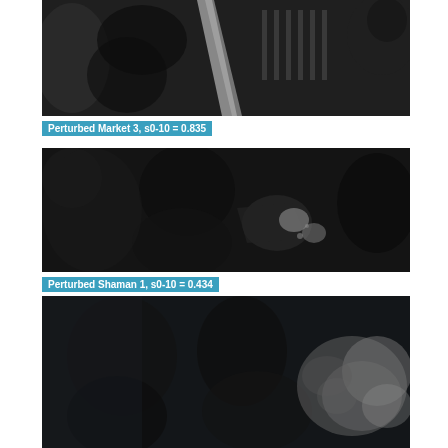[Figure (photo): Grayscale rendered image labeled 'Perturbed Market 3' showing dark figures in motion, appears to be a 3D rendered scene.]
Perturbed Market 3, s0-10 = 0.835
[Figure (photo): Grayscale rendered image labeled 'Perturbed Shaman 1' showing dark humanoid figures, appears to be a 3D rendered scene.]
Perturbed Shaman 1, s0-10 = 0.434
[Figure (photo): Grayscale rendered image showing dark figures, partially visible, appears to be a 3D rendered scene, cropped at bottom.]